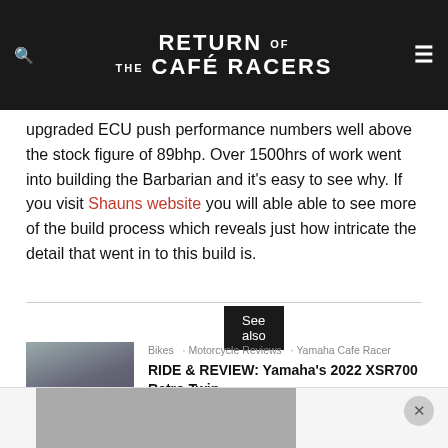RETURN OF THE CAFÉ RACERS
upgraded ECU push performance numbers well above the stock figure of 89bhp. Over 1500hrs of work went into building the Barbarian and it's easy to see why. If you visit Shauns website you will able able to see more of the build process which reveals just how intricate the detail that went in to this build is.
See also
Bikes · Motorcycle Reviews · Yamaha Cafe Racer
RIDE & REVIEW: Yamaha's 2022 XSR700 Retro Twin
[Figure (photo): Rider on a dark motorcycle (Yamaha XSR700) on a road with hills in background]